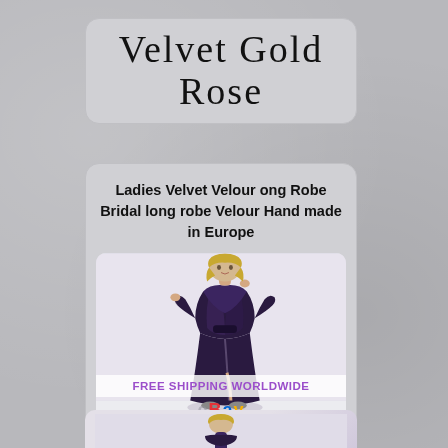Velvet Gold Rose
Ladies Velvet Velour ong Robe Bridal long robe Velour Hand made in Europe
[Figure (photo): A woman wearing a long dark purple/navy velvet robe, standing against a light background. Text overlay reads FREE SHIPPING WORLDWIDE in purple. eBay watermark visible at bottom.]
[Figure (photo): Partial view of second product photo showing another image of the velvet robe, cropped at bottom of page.]